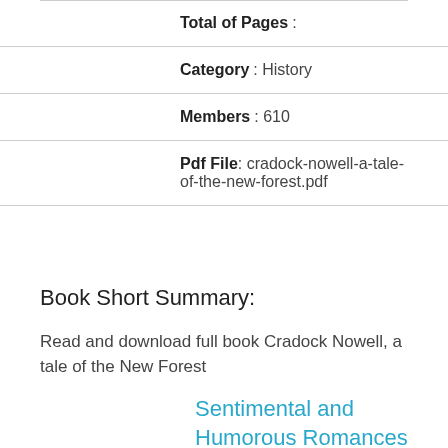Total of Pages :
Category : History
Members : 610
Pdf File: cradock-nowell-a-tale-of-the-new-forest.pdf
Book Short Summary:
Read and download full book Cradock Nowell, a tale of the New Forest
Sentimental and Humorous Romances